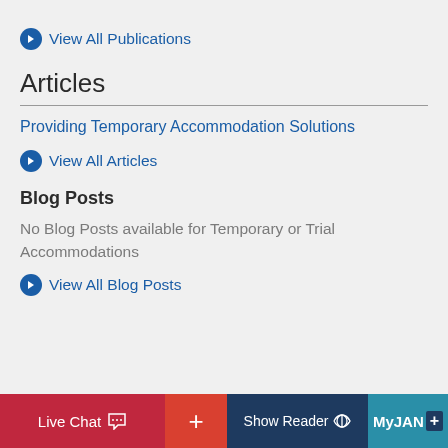View All Publications
Articles
Providing Temporary Accommodation Solutions
View All Articles
Blog Posts
No Blog Posts available for Temporary or Trial Accommodations
View All Blog Posts
Live Chat  +  Show Reader  MyJAN